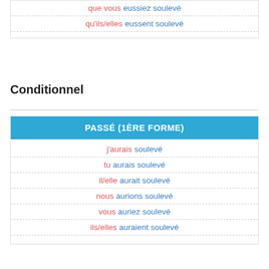| que vous eussiez soulevé |
| qu'ils/elles eussent soulevé |
Conditionnel
| PASSÉ (1ÈRE FORME) |
| --- |
| j'aurais soulevé |
| tu aurais soulevé |
| il/elle aurait soulevé |
| nous aurions soulevé |
| vous auriez soulevé |
| ils/elles auraient soulevé |